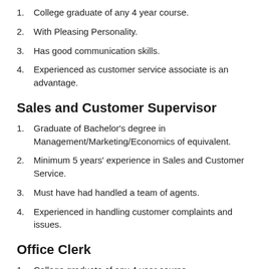1. College graduate of any 4 year course.
2. With Pleasing Personality.
3. Has good communication skills.
4. Experienced as customer service associate is an advantage.
Sales and Customer Supervisor
1. Graduate of Bachelor's degree in Management/Marketing/Economics of equivalent.
2. Minimum 5 years' experience in Sales and Customer Service.
3. Must have had handled a team of agents.
4. Experienced in handling customer complaints and issues.
Office Clerk
1. College graduate of any 4 year course.